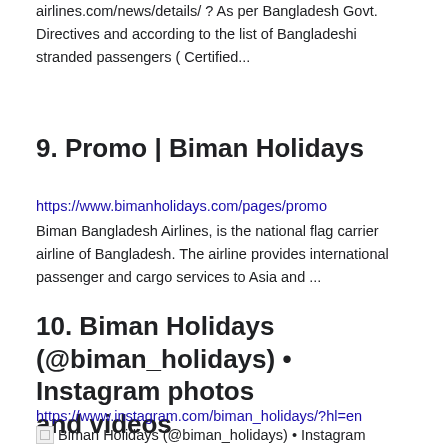airlines.com/news/details/ ? As per Bangladesh Govt. Directives and according to the list of Bangladeshi stranded passengers ( Certified...
9. Promo | Biman Holidays
https://www.bimanholidays.com/pages/promo
Biman Bangladesh Airlines, is the national flag carrier airline of Bangladesh. The airline provides international passenger and cargo services to Asia and ...
10. Biman Holidays (@biman_holidays) • Instagram photos and videos
https://www.instagram.com/biman_holidays/?hl=en
Biman Holidays (@biman_holidays) • Instagram photos and videos
Biman Holidays. Biman Holidays is the exclusive sole Holiday Wing of Biman Bangladesh Airlines.
www.bimanholidays.com · 4 posts · 1,952 followers